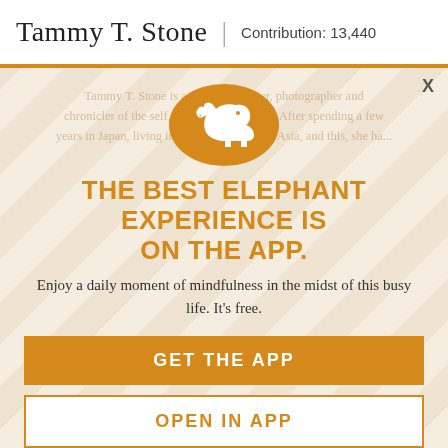Tammy T. Stone | Contribution: 13,440
[Figure (logo): Orange circle with white elephant silhouette logo]
THE BEST ELEPHANT EXPERIENCE IS ON THE APP.
Enjoy a daily moment of mindfulness in the midst of this busy life. It's free.
GET THE APP
OPEN IN APP